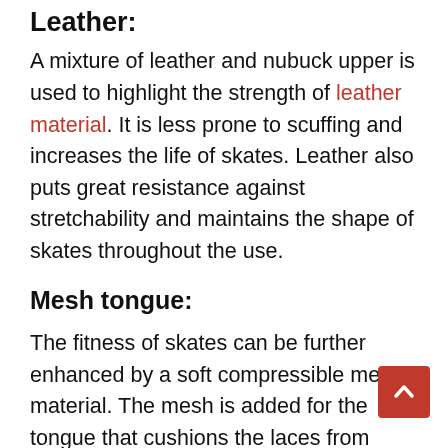Leather:
A mixture of leather and nubuck upper is used to highlight the strength of leather material. It is less prone to scuffing and increases the life of skates. Leather also puts great resistance against stretchability and maintains the shape of skates throughout the use.
Mesh tongue:
The fitness of skates can be further enhanced by a soft compressible mesh material. The mesh is added for the tongue that cushions the laces from digging into your skin. Apart from that it